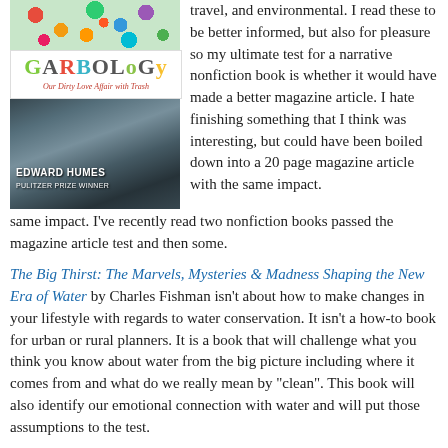[Figure (photo): Book cover top portion - colorful flowers/items piled together]
[Figure (photo): Garbology book cover - Our Dirty Love Affair with Trash, colorful text title]
[Figure (photo): Garbology book cover lower portion - pile of electronic waste/junk, by Edward Humes, Pulitzer Prize Winner]
travel, and environmental. I read these to be better informed, but also for pleasure so my ultimate test for a narrative nonfiction book is whether it would have made a better magazine article. I hate finishing something that I think was interesting, but could have been boiled down into a 20 page magazine article with the same impact. I've recently read two nonfiction books passed the magazine article test and then some.
The Big Thirst: The Marvels, Mysteries & Madness Shaping the New Era of Water by Charles Fishman isn't about how to make changes in your lifestyle with regards to water conservation. It isn't a how-to book for urban or rural planners. It is a book that will challenge what you think you know about water from the big picture including where it comes from and what do we really mean by "clean"​. This book will also identify our emotional connection with water and will put those assumptions to the test.